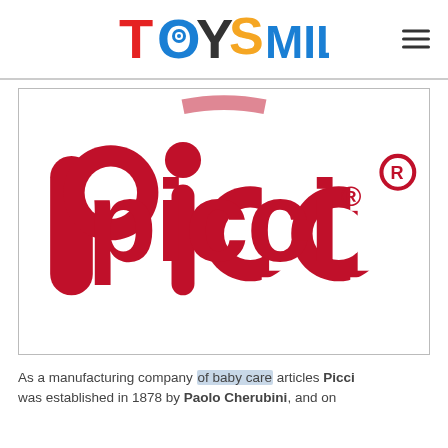TOYS MILANO
[Figure (logo): Picci brand logo in red lowercase bold rounded font with registered trademark symbol on white background]
As a manufacturing company of baby care articles Picci was established in 1878 by Paolo Cherubini, and on